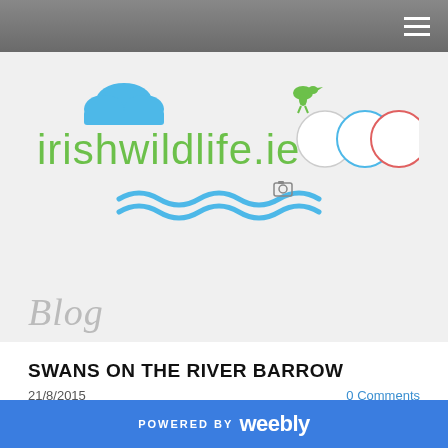Navigation bar with hamburger menu
[Figure (logo): irishwildlife.ie logo with green text, blue cloud illustration, blue wave decoration, green bird, and Google logo circles overlay]
Blog
SWANS ON THE RIVER BARROW
21/8/2015   0 Comments
POWERED BY weebly